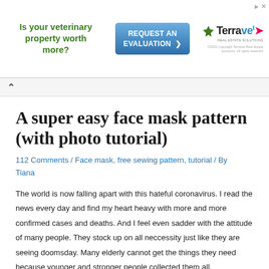[Figure (other): Advertisement banner for Terravet Real Estate Solutions. Left side shows green bold text 'Is your veterinary property worth more?'. Center shows a blue button 'REQUEST AN EVALUATION'. Right side shows Terravet logo and tagline. Top-right has close/info icons.]
112 Comments / Face mask, free sewing pattern, tutorial / By Tiana
A super easy face mask pattern (with photo tutorial)
The world is now falling apart with this hateful coronavirus. I read the news every day and find my heart heavy with more and more confirmed cases and deaths. And I feel even sadder with the attitude of many people. They stock up on all neccessity just like they are seeing doomsday. Many elderly cannot get the things they need because younger and stronger people collected them all.